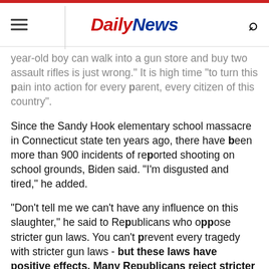Daily News
year-old boy can walk into a gun store and buy two assault rifles is just wrong." It is high time "to turn this pain into action for every parent, every citizen of this country".
Since the Sandy Hook elementary school massacre in Connecticut state ten years ago, there have been more than 900 incidents of reported shooting on school grounds, Biden said. "I'm disgusted and tired," he added.
"Don't tell me we can't have any influence on this slaughter," he said to Republicans who oppose stricter gun laws. You can't prevent every tragedy with stricter gun laws - but these laws have positive effects. Many Republicans reject stricter regulations - the gun lobby is very powerful in the USA. Biden's